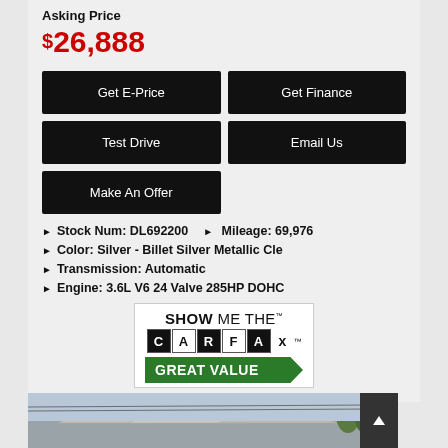Asking Price
$26,888
Get E-Price | Get Finance | Test Drive | Email Us | Make An Offer
Stock Num: DL692200   Mileage: 69,976
Color: Silver - Billet Silver Metallic Cle
Transmission: Automatic
Engine: 3.6L V6 24 Valve 285HP DOHC
[Figure (logo): CARFAX SHOW ME THE CARFAX - GREAT VALUE badge]
[Figure (photo): Car dealership building exterior photo at bottom of page]